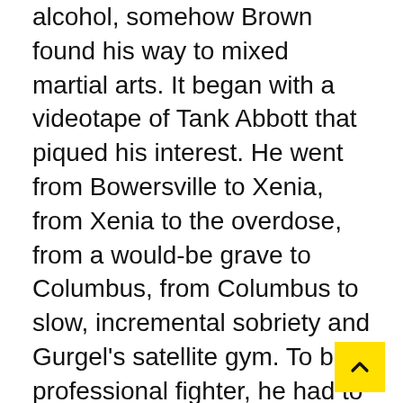alcohol, somehow Brown found his way to mixed martial arts. It began with a videotape of Tank Abbott that piqued his interest. He went from Bowersville to Xenia, from Xenia to the overdose, from a would-be grave to Columbus, from Columbus to slow, incremental sobriety and Gurgel's satellite gym. To be a professional fighter, he had to be clean. So, slowly, he got there. Then he went from Ohio to New York City where he worked as a personal trainer on the Upper West Side and made good money—good enough to essentially quit MMA. That is, until The Ultimate Fighter tryouts in New Jersey lured him in, and, suddenly, he was training to fight full time.
That's when Matt Brown opened the second